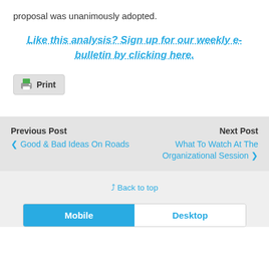proposal was unanimously adopted.
Like this analysis? Sign up for our weekly e-bulletin by clicking here.
[Figure (other): Print button with printer icon]
Previous Post
< Good & Bad Ideas On Roads
Next Post
What To Watch At The Organizational Session >
^ Back to top
Mobile | Desktop